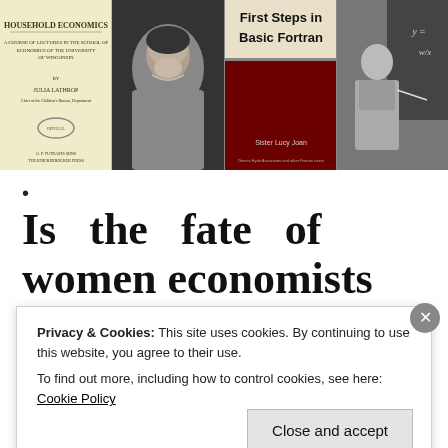[Figure (photo): A strip of four images: (1) yellowed title page of 'Household Economics' document, (2) black and white portrait photo of a woman smiling, (3) cover of book 'First Steps in Basic Fortran' with dark red background, (4) black and white photo of a woman standing at a chalkboard with equations]
•
Is the fate of women economists tied to the changing
Privacy & Cookies: This site uses cookies. By continuing to use this website, you agree to their use.
To find out more, including how to control cookies, see here: Cookie Policy